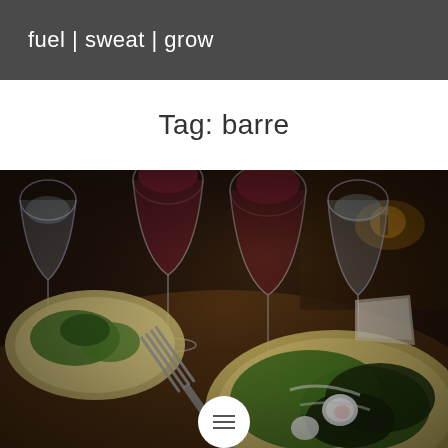fuel | sweat | grow
Tag: barre
[Figure (photo): Restaurant dinner table scene with wine glasses (red wine and water), salad plates with mixed greens and radishes on a dark wood table, dimly lit restaurant setting]